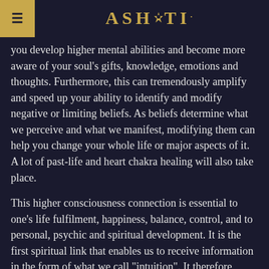ASHATI.
you develop higher mental abilities and become more aware of your soul's gifts, knowledge, emotions and thoughts. Furthermore, this can tremendously amplify and speed up your ability to identify and modify negative or limiting beliefs. As beliefs determine what we perceive and what we manifest, modifying them can help you change your whole life or major aspects of it. A lot of past-life and heart chakra healing will also take place.
This higher consciousness connection is essential to one's life fulfilment, happiness, balance, control, and to personal, psychic and spiritual development. It is the first spiritual link that enables us to receive information in the form of what we call "intuition". It therefore provides us with the knowledge and the sense of knowing what lies before us